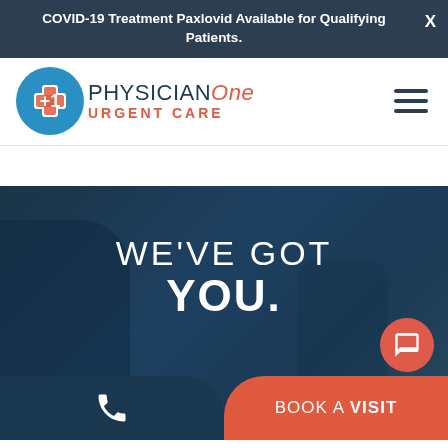COVID-19 Treatment Paxlovid Available for Qualifying Patients. X
[Figure (logo): PhysicianOne Urgent Care logo: blue circle with red cross and +1, next to company name in blue and red text]
WE'VE GOT YOU.
BOOK A VISIT